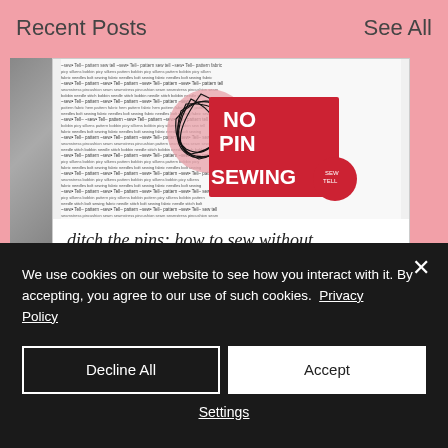Recent Posts
See All
[Figure (illustration): Blog post card showing 'No Pin Sewing' graphic with text pattern background, red graphic overlay, and title 'ditch the pins: how to sew without pins']
ditch the pins: how to sew without pins
We use cookies on our website to see how you interact with it. By accepting, you agree to our use of such cookies.  Privacy Policy
Decline All
Accept
Settings